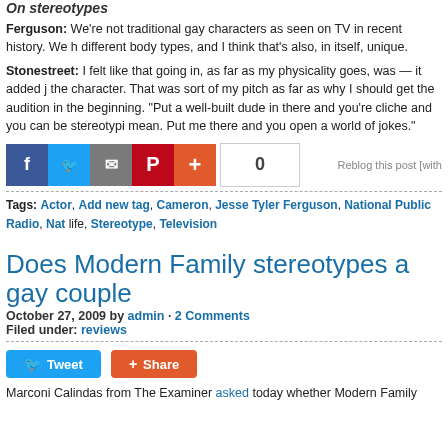On stereotypes
Ferguson: We're not traditional gay characters as seen on TV in recent history. We have different body types, and I think that's also, in itself, unique.
Stonestreet: I felt like that going in, as far as my physicality goes, was — it added jo the character. That was sort of my pitch as far as why I should get the audition in the beginning. "Put a well-built dude in there and you're cliche and you can be stereotypi mean. Put me there and you open a world of jokes."
[Figure (other): Social sharing buttons: Facebook, Twitter, Email, Pinterest, Plus, and a count showing 0. Also a Reblog this post link.]
Tags: Actor, Add new tag, Cameron, Jesse Tyler Ferguson, National Public Radio, Nat life, Stereotype, Television
Does Modern Family stereotypes a gay couple
October 27, 2009 by admin · 2 Comments
Filed under: reviews
[Figure (other): Tweet and Share social buttons]
Marconi Calindas from The Examiner asked today whether Modern Family